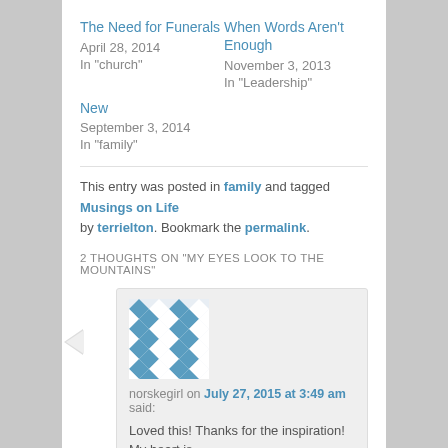The Need for Funerals
April 28, 2014
In "church"
When Words Aren't Enough
November 3, 2013
In "Leadership"
New
September 3, 2014
In "family"
This entry was posted in family and tagged Musings on Life by terrielton. Bookmark the permalink.
2 THOUGHTS ON "MY EYES LOOK TO THE MOUNTAINS"
[Figure (illustration): Blue and white geometric pattern avatar for user norskegirl]
norskegirl on July 27, 2015 at 3:49 am said:
Loved this! Thanks for the inspiration! My heart is